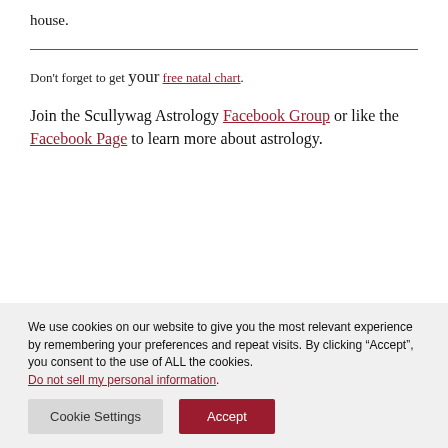house.
Don't forget to get your free natal chart.
Join the Scullywag Astrology Facebook Group or like the Facebook Page to learn more about astrology.
We use cookies on our website to give you the most relevant experience by remembering your preferences and repeat visits. By clicking “Accept”, you consent to the use of ALL the cookies.
Do not sell my personal information.